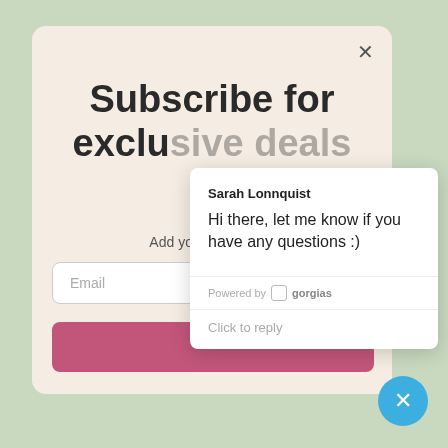Subscribe for exclu...
Add yo...
Email
[Figure (screenshot): A subscribe modal popup with email input field and pink subscribe button, overlaid by a chat support popup from Sarah Lonnquist saying 'Hi there, let me know if you have any questions :)' powered by Gorgias, with a blue close button in the bottom right.]
Sarah Lonnquist
Hi there, let me know if you have any questions :)
Powered by gorgias
Click to reply